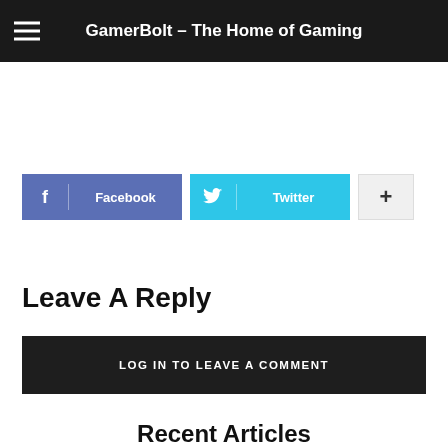GamerBolt – The Home of Gaming
[Figure (other): Social share buttons: Facebook, Twitter, and a plus/more button]
Leave A Reply
LOG IN TO LEAVE A COMMENT
Recent Articles